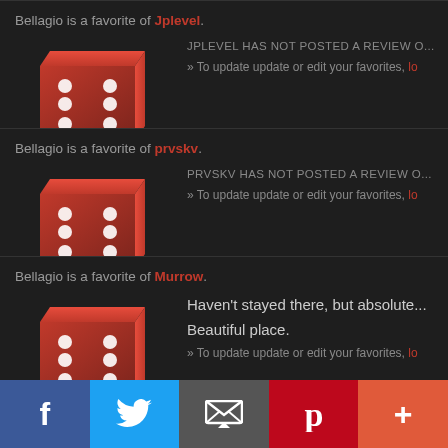Bellagio is a favorite of Jplevel.
JPLEVEL HAS NOT POSTED A REVIEW O...
» To update update or edit your favorites, lo...
Bellagio is a favorite of prvskv.
PRVSKV HAS NOT POSTED A REVIEW O...
» To update update or edit your favorites, lo...
Bellagio is a favorite of Murrow.
Haven't stayed there, but absolute... Beautiful place.
» To update update or edit your favorites, lo...